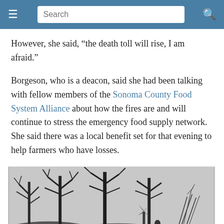Search
However, she said, “the death toll will rise, I am afraid.”
Borgeson, who is a deacon, said she had been talking with fellow members of the Sonoma County Food System Alliance about how the fires are and will continue to stress the emergency food supply network. She said there was a local benefit set for that evening to help farmers who have losses.
[Figure (photo): Black and white photograph showing fire-damaged landscape with burned bare trees, rubble and debris, and a windmill or wind spinner sculpture still standing amid the destruction.]